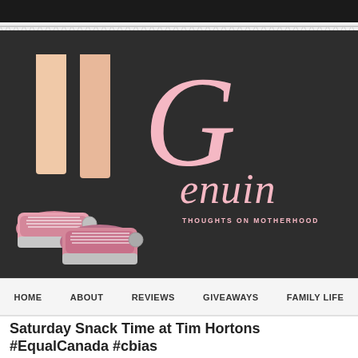[Figure (illustration): Blog header banner with dark background showing illustrated legs/feet wearing pink Converse-style sneakers on the left, and large pink cursive script text 'Genuinely' with tagline 'THOUGHTS ON MOTHERHOOD' on the right]
HOME   ABOUT   REVIEWS   GIVEAWAYS   FAMILY LIFE
Saturday Snack Time at Tim Hortons #EqualCanada #cbias